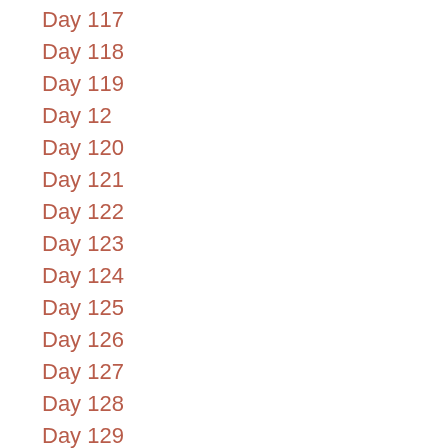Day 117
Day 118
Day 119
Day 12
Day 120
Day 121
Day 122
Day 123
Day 124
Day 125
Day 126
Day 127
Day 128
Day 129
Day 13